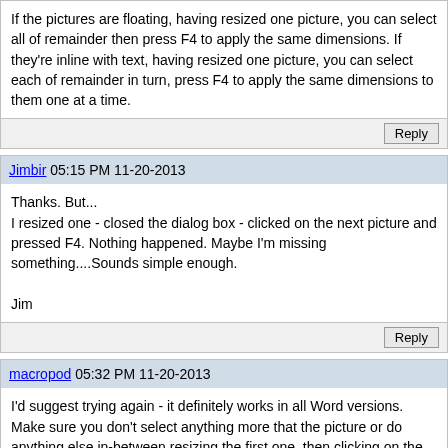If the pictures are floating, having resized one picture, you can select all of remainder then press F4 to apply the same dimensions. If they're inline with text, having resized one picture, you can select each of remainder in turn, press F4 to apply the same dimensions to them one at a time.
Reply
Jimbir 05:15 PM 11-20-2013
Thanks. But...
I resized one - closed the dialog box - clicked on the next picture and pressed F4. Nothing happened. Maybe I'm missing something....Sounds simple enough.

Jim
Reply
macropod 05:32 PM 11-20-2013
I'd suggest trying again - it definitely works in all Word versions. Make sure you don't select anything more that the picture or do anything else in-between resizing the first one, then clicking on the second one to resize it via F4.
Reply
Jimbir 06:14 PM 11-20-2013
I've resized the first picture (page 1). Closed the dialog box, scrolled